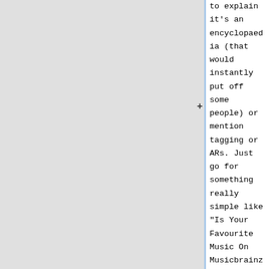to explain it's an encyclopaedia (that would instantly put off some people) or mention tagging or ARs. Just go for something really simple like "Is Your Favourite Music On Musicbrainz? You have